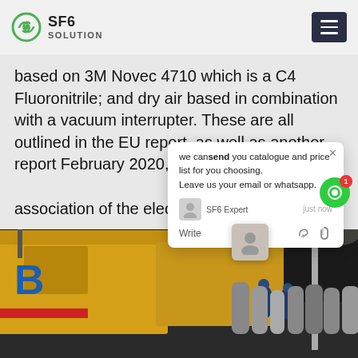SF6 SOLUTION
based on 3M Novec 4710 which is a C4 Fluoronitrile; and dry air based in combination with a vacuum interrupter. These are all outlined in the EU report, as well as another report February 2020, by TD Europe (6), th association of the electricity transmi
[Figure (photo): Industrial scene at night showing yellow trucks/containers and workers in blue uniforms handling gas cylinders, likely SF6 gas handling equipment]
[Figure (screenshot): Chat popup overlay with message: 'we can send you catalogue and price list for you choosing. Leave us your email or whatsapp.' SF6 Expert, just now. Write options with thumbs up and paperclip icons.]